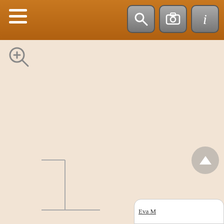[Figure (screenshot): Genealogy family tree app screenshot showing person cards with names and dates connected by lines]
Albert Ernest MUTTON ♂ 1863-
Frances Catherine GAWTHORN Abt 1873-1958
Euger MU ♂ 1
Elizab M
Chris W MU ♂ 1
Eva M